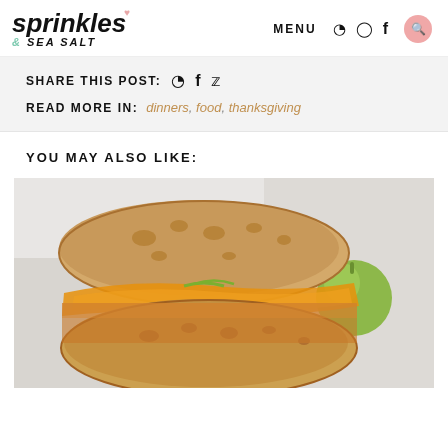sprinkles & SEA SALT — MENU — social icons — search
SHARE THIS POST: [Pinterest] [Facebook] [Twitter]
READ MORE IN: dinners, food, thanksgiving
YOU MAY ALSO LIKE:
[Figure (photo): Close-up photo of a sandwich on ciabatta bread with melted orange cheese and green onions, with a green apple visible in the background]